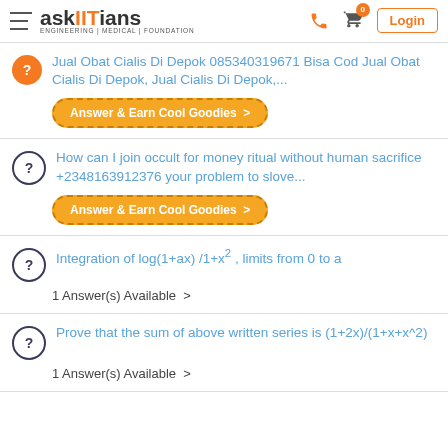askIITians — ENGINEERING | MEDICAL | FOUNDATION
Jual Obat Cialis Di Depok 085340319671 Bisa Cod Jual Obat Cialis Di Depok, Jual Cialis Di Depok,...
How can I join occult for money ritual without human sacrifice +2348163912376 your problem to slove...
Integration of log(1+ax) /1+x² , limits from 0 to a
Prove that the sum of above written series is (1+2x)/(1+x+x^2)